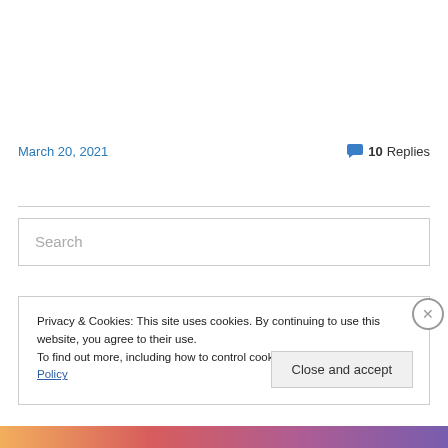March 20, 2021
💬 10 Replies
Search
Privacy & Cookies: This site uses cookies. By continuing to use this website, you agree to their use.
To find out more, including how to control cookies, see here: Cookie Policy
Close and accept